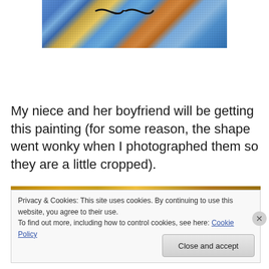[Figure (photo): Partial top view of a colorful painting or artwork showing vivid blue, gold, orange and multicolor abstract textures, partially cropped at top]
My niece and her boyfriend will be getting this painting (for some reason, the shape went wonky when I photographed them so they are a little cropped).
Privacy & Cookies: This site uses cookies. By continuing to use this website, you agree to their use.
To find out more, including how to control cookies, see here: Cookie Policy
Close and accept